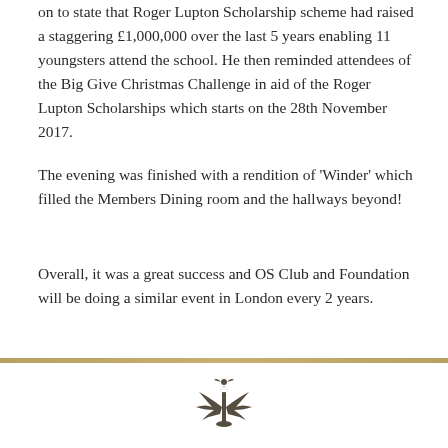on to state that Roger Lupton Scholarship scheme had raised a staggering £1,000,000 over the last 5 years enabling 11 youngsters attend the school. He then reminded attendees of the Big Give Christmas Challenge in aid of the Roger Lupton Scholarships which starts on the 28th November 2017.
The evening was finished with a rendition of 'Winder' which filled the Members Dining room and the hallways beyond!
Overall, it was a great success and OS Club and Foundation will be doing a similar event in London every 2 years.
[Figure (illustration): Small decorative emblem or crest at the bottom center of the page, partially visible]